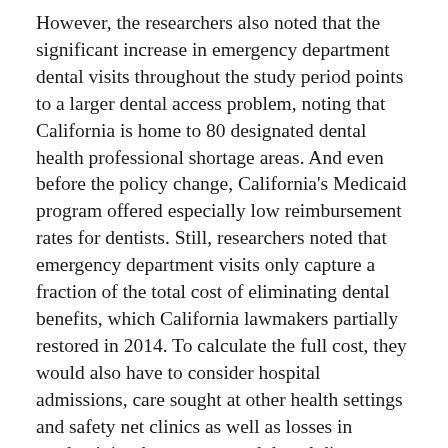However, the researchers also noted that the significant increase in emergency department dental visits throughout the study period points to a larger dental access problem, noting that California is home to 80 designated dental health professional shortage areas. And even before the policy change, California's Medicaid program offered especially low reimbursement rates for dentists. Still, researchers noted that emergency department visits only capture a fraction of the total cost of eliminating dental benefits, which California lawmakers partially restored in 2014. To calculate the full cost, they would also have to consider hospital admissions, care sought at other health settings and safety net clinics as well as losses in productivity due to untreated dental disease.
“These (emergency department) costs offer almost no benefit in terms of the actual resolution of the dental problem for the enrollees,” the study stated. “Policymakers should think of these costs in terms of cost-effectiveness rather than of cost savings.”